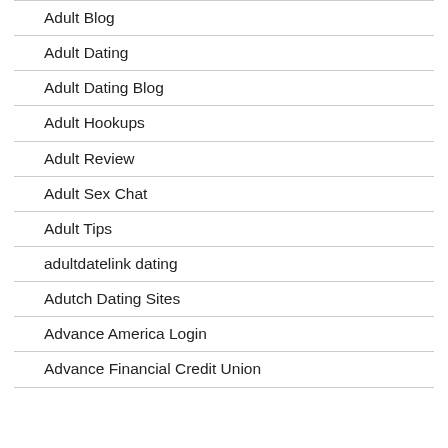Adult Blog
Adult Dating
Adult Dating Blog
Adult Hookups
Adult Review
Adult Sex Chat
Adult Tips
adultdatelink dating
Adutch Dating Sites
Advance America Login
Advance Financial Credit Union